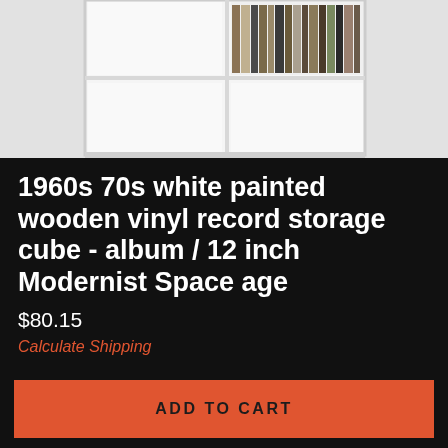[Figure (photo): White painted wooden vinyl record storage cube shelf unit with vinyl records stored in one of the compartments, photographed against a light grey/white background]
1960s 70s white painted wooden vinyl record storage cube - album / 12 inch Modernist Space age
$80.15
Calculate Shipping
ADD TO CART